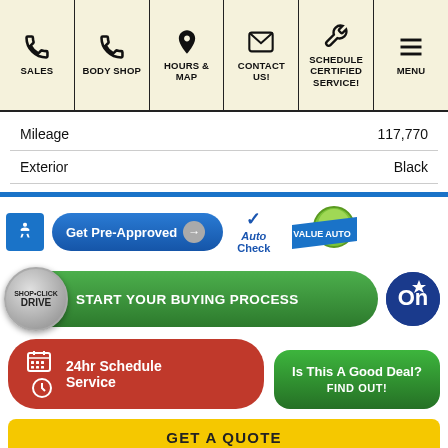[Figure (screenshot): Navigation bar with icons for Sales, Body Shop, Hours & Map, Contact Us!, Schedule Certified Service!, and Menu]
| Mileage | 117,770 |
| Exterior | Black |
[Figure (infographic): Action buttons: Get Pre-Approved, AutoCheck badge, Value Auto badge, accessibility icon]
[Figure (infographic): Shop•Click Drive - Start Your Buying Process button, OnStar badge]
[Figure (infographic): Is This A Good Deal? Find Out! green button, 24hr Schedule Service red button]
[Figure (infographic): Get A Quote yellow bar]